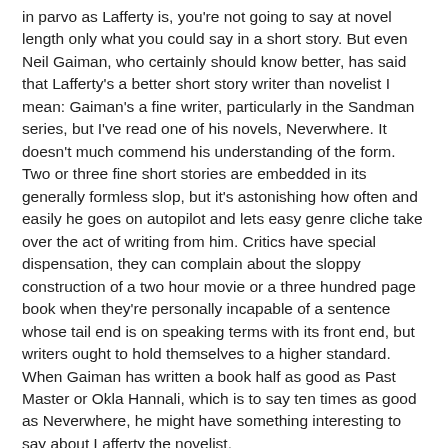in parvo as Lafferty is, you're not going to say at novel length only what you could say in a short story. But even Neil Gaiman, who certainly should know better, has said that Lafferty's a better short story writer than novelist I mean: Gaiman's a fine writer, particularly in the Sandman series, but I've read one of his novels, Neverwhere. It doesn't much commend his understanding of the form. Two or three fine short stories are embedded in its generally formless slop, but it's astonishing how often and easily he goes on autopilot and lets easy genre cliche take over the act of writing from him. Critics have special dispensation, they can complain about the sloppy construction of a two hour movie or a three hundred page book when they're personally incapable of a sentence whose tail end is on speaking terms with its front end, but writers ought to hold themselves to a higher standard. When Gaiman has written a book half as good as Past Master or Okla Hannali, which is to say ten times as good as Neverwhere, he might have something interesting to say about Lafferty the novelist.
Of course to say that Lafferty's novels are better than Noverwhere is to damp with criminally faint praise. I'm